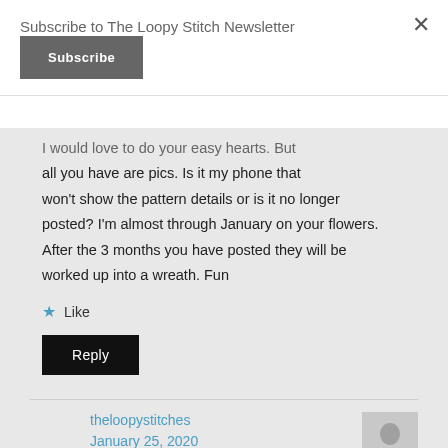Subscribe to The Loopy Stitch Newsletter
Subscribe (button)
I would love to do your easy hearts. But all you have are pics. Is it my phone that won't show the pattern details or is it no longer posted? I'm almost through January on your flowers. After the 3 months you have posted they will be worked up into a wreath. Fun
★ Like
Reply (button)
theloopystitches
January 25, 2020